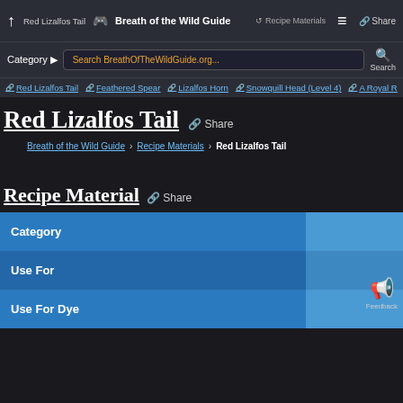Red Lizalfos Tail | Breath of the Wild Guide | Recipe Materials | Share
Category | Search BreathOfTheWildGuide.org... | Search
Red Lizalfos Tail | Feathered Spear | Lizalfos Horn | Snowquill Head (Level 4) | A Royal R
Red Lizalfos Tail
Breath of the Wild Guide > Recipe Materials > Red Lizalfos Tail
Recipe Material
| Category |  |
| --- | --- |
| Category |  |
| Use For |  |
| Use For Dye |  |